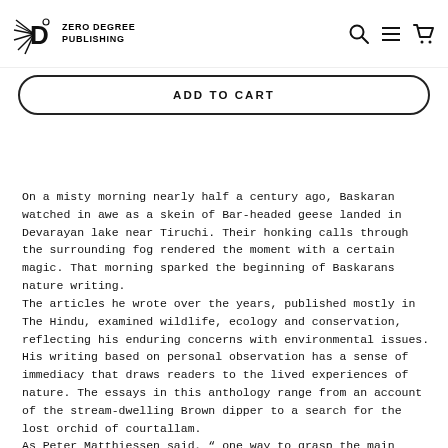ZERO DEGREE PUBLISHING
ADD TO CART
On a misty morning nearly half a century ago, Baskaran watched in awe as a skein of Bar-headed geese landed in Devarayan lake near Tiruchi. Their honking calls through the surrounding fog rendered the moment with a certain magic. That morning sparked the beginning of Baskarans nature writing.
The articles he wrote over the years, published mostly in The Hindu, examined wildlife, ecology and conservation, reflecting his enduring concerns with environmental issues. His writing based on personal observation has a sense of immediacy that draws readers to the lived experiences of nature. The essays in this anthology range from an account of the stream-dwelling Brown dipper to a search for the lost orchid of courtallam.
As Peter Matthiessen said, " one way to grasp the main perspectives of biodiversity is to understand the precious nature of a single living